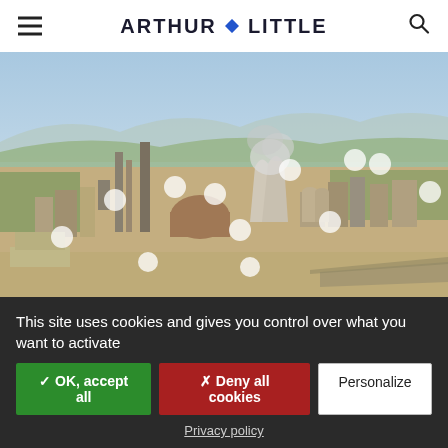ARTHUR LITTLE
[Figure (photo): Aerial drone photograph of a large industrial/chemical plant complex with multiple towers, smokestacks, and cooling towers emitting steam, surrounded by urban and natural landscape. Multiple circular white location pin markers overlaid on the image.]
7 MIN READ • VIEWPOINT
This site uses cookies and gives you control over what you want to activate
✓ OK, accept all
✗ Deny all cookies
Personalize
Privacy policy